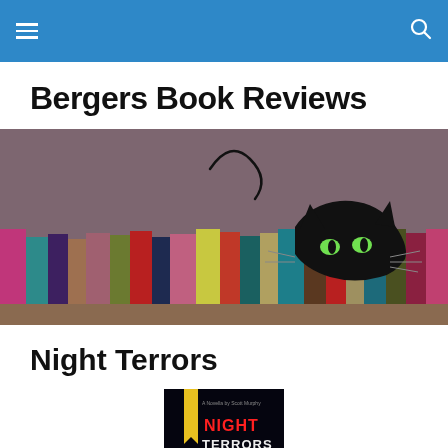Bergers Book Reviews — navigation header
Bergers Book Reviews
[Figure (illustration): Cartoon black cat peeking over a row of colorful book spines on a shelf, with a curling tail, set against a mauve/grey background.]
Night Terrors
[Figure (photo): Book cover of 'Night Terrors' — dark background with yellow bookmark ribbon and red/white title text.]